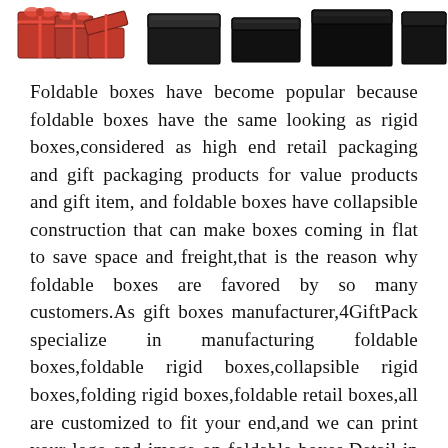[Figure (photo): Row of product photos showing various foldable gift boxes — red ribbon gift boxes on the left, black rigid boxes in the middle and right]
Foldable boxes have become popular because foldable boxes have the same looking as rigid boxes,considered as high end retail packaging and gift packaging products for value products and gift item,and foldable boxes have collapsible construction that can make boxes coming in flat to save space and freight,that is the reason why foldable boxes are favored by so many customers.As gift boxes manufacturer,4GiftPack specialize in manufacturing foldable boxes,foldable rigid boxes,collapsible rigid boxes,folding rigid boxes,foldable retail boxes,all are customized to fit your end,and we can print your logo and image on foldable boxes.Detail in in below.